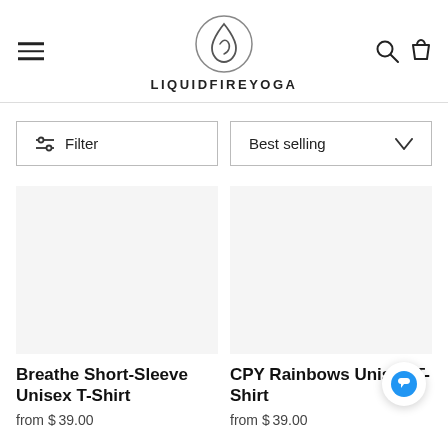LIQUIDFIREYOGA
Filter
Best selling
[Figure (photo): Empty product image placeholder for Breathe Short-Sleeve Unisex T-Shirt]
Breathe Short-Sleeve Unisex T-Shirt
from $39.00
[Figure (photo): Empty product image placeholder for CPY Rainbows Unisex T-Shirt]
CPY Rainbows Unisex T-Shirt
from $39.00